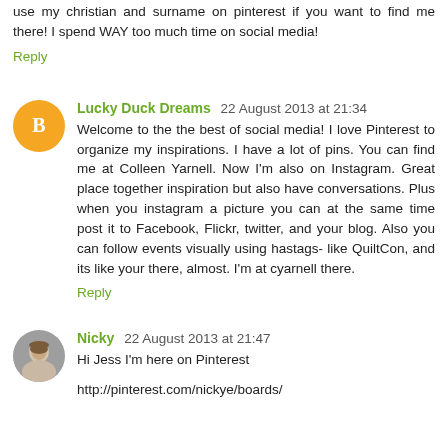use my christian and surname on pinterest if you want to find me there! I spend WAY too much time on social media!
Reply
Lucky Duck Dreams  22 August 2013 at 21:34
Welcome to the the best of social media! I love Pinterest to organize my inspirations. I have a lot of pins. You can find me at Colleen Yarnell. Now I'm also on Instagram. Great place together inspiration but also have conversations. Plus when you instagram a picture you can at the same time post it to Facebook, Flickr, twitter, and your blog. Also you can follow events visually using hastags- like QuiltCon, and its like your there, almost. I'm at cyarnell there.
Reply
Nicky  22 August 2013 at 21:47
Hi Jess I'm here on Pinterest
http://pinterest.com/nickye/boards/